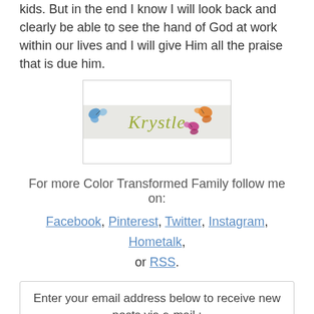kids. But in the end I know I will look back and clearly be able to see the hand of God at work within our lives and I will give Him all the praise that is due him.
[Figure (illustration): Signature image for 'Krystle' with decorative butterflies (blue, orange, pink) on a light gray banner background]
For more Color Transformed Family follow me on:
Facebook, Pinterest, Twitter, Instagram, Hometalk, or RSS.
Enter your email address below to receive new posts via e-mail.: